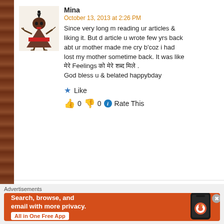[Figure (illustration): Mina user avatar - cartoon illustration of a woman figure in a red dress with dark hair]
Mina
October 13, 2013 at 2:26 PM
Since very long m reading ur articles & liking it. But d article u wrote few yrs back abt ur mother made me cry b'coz i had lost my mother sometime back. It was like मेरे Feelings को मेरे शब्द मिले .
God bless u & belated happybday
★ Like
👍 0 👎 0 ℹ Rate This
[Figure (illustration): Dhruvi user avatar - cartoon illustration of a creature with a brain-like head]
Dhruvi
October 20, 2013 at 2:14 PM
Sir, I really love your articles.. they are so amazing an
Advertisements
[Figure (screenshot): DuckDuckGo advertisement banner - Search, browse, and email with more privacy. All in One Free App]